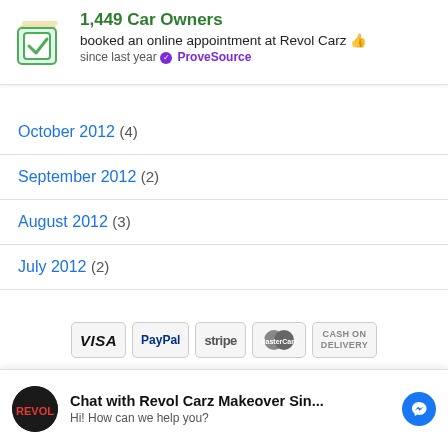[Figure (infographic): ProveSource notification banner: green checkbox icon, '1,449 Car Owners booked an online appointment at Revol Carz (thumbs up emoji) since last year ProveSource (purple verified badge)']
October 2012 (4)
September 2012 (2)
August 2012 (3)
July 2012 (2)
[Figure (infographic): Payment method icons: VISA, PayPal, stripe, MasterCard, CASH ON DELIVERY]
[Figure (infographic): Chat widget: Revol Carz circular avatar, 'Chat with Revol Carz Makeover Sin... / Hi! How can we help you?' with Facebook Messenger icon]